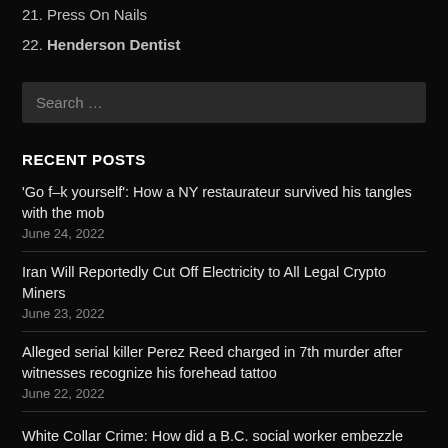21. Press On Nails
22. Henderson Dentist
Search …
RECENT POSTS
'Go f–k yourself': How a NY restaurateur survived his tangles with the mob
June 24, 2022
Iran Will Reportedly Cut Off Electricity to All Legal Crypto Miners
June 23, 2022
Alleged serial killer Perez Reed charged in 7th murder after witnesses recognize his forehead tattoo
June 22, 2022
White Collar Crime: How did a B.C. social worker embezzle $460K